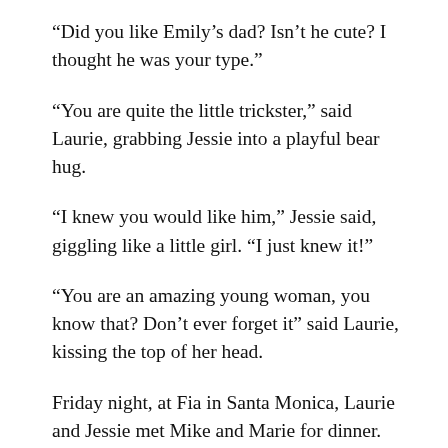“Did you like Emily’s dad? Isn’t he cute? I thought he was your type.”
“You are quite the little trickster,” said Laurie, grabbing Jessie into a playful bear hug.
“I knew you would like him,” Jessie said, giggling like a little girl. “I just knew it!”
“You are an amazing young woman, you know that? Don’t ever forget it” said Laurie, kissing the top of her head.
Friday night, at Fia in Santa Monica, Laurie and Jessie met Mike and Marie for dinner. Marie had that effortlessly slouchy-chic look: a satin slip